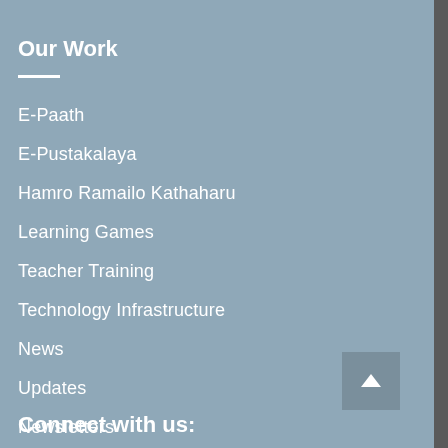Our Work
E-Paath
E-Pustakalaya
Hamro Ramailo Kathaharu
Learning Games
Teacher Training
Technology Infrastructure
News
Updates
Newsletters
Connect with us: